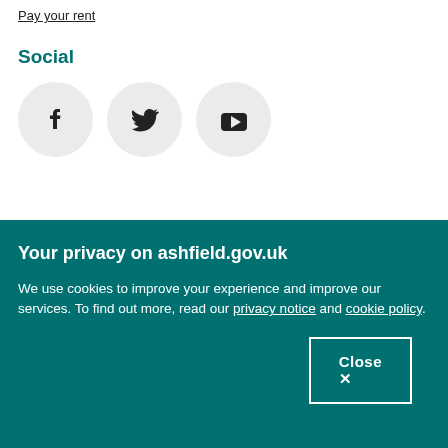Pay your rent
Social
[Figure (illustration): Three social media icons in grey circles: Facebook, Twitter, YouTube]
Your privacy on ashfield.gov.uk
We use cookies to improve your experience and improve our services. To find out more, read our privacy notice and cookie policy.
Close ✕